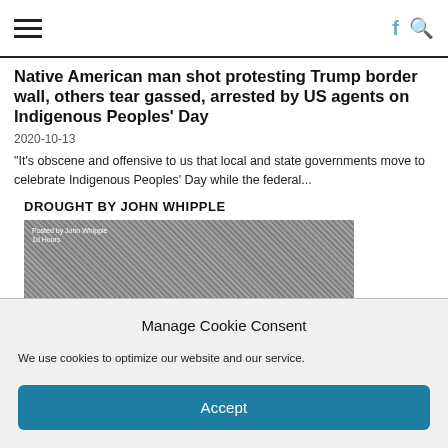≡   f 🔍
Native American man shot protesting Trump border wall, others tear gassed, arrested by US agents on Indigenous Peoples' Day
2020-10-13
"It's obscene and offensive to us that local and state governments move to celebrate Indigenous Peoples' Day while the federal...
DROUGHT BY JOHN WHIPPLE
[Figure (photo): Black and white photograph, partially visible, with text overlay reading 'Posted by John Whipple' and a time stamp.]
Manage Cookie Consent
We use cookies to optimize our website and our service.
Accept